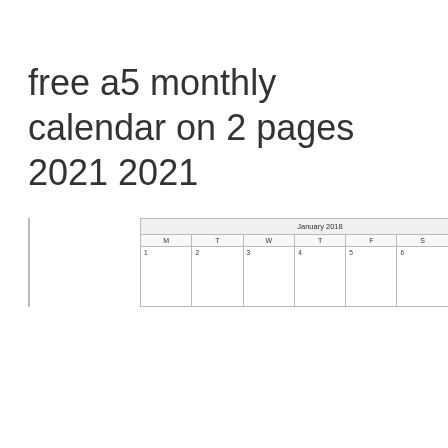free a5 monthly calendar on 2 pages 2021 2021
| M | T | W | T | F | S | S |
| --- | --- | --- | --- | --- | --- | --- |
| 1 | 2 | 3 | 4 | 5 | 6 | 7 |